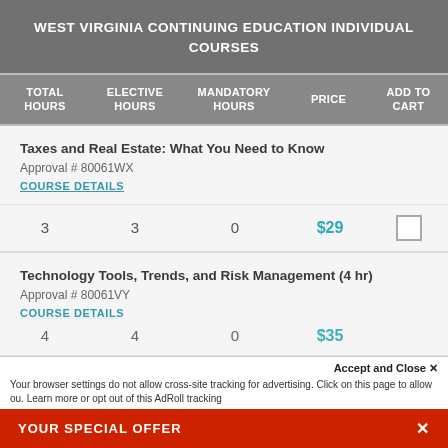WEST VIRGINIA CONTINUING EDUCATION INDIVIDUAL COURSES
| TOTAL HOURS | ELECTIVE HOURS | MANDATORY HOURS | PRICE | ADD TO CART |
| --- | --- | --- | --- | --- |
| 3 | 3 | 0 | $29 |  |
| 4 | 4 | 0 | $35 |  |
Taxes and Real Estate: What You Need to Know
Approval # 80061WX
COURSE DETAILS
Technology Tools, Trends, and Risk Management (4 hr)
Approval # 80061VY
COURSE DETAILS
YOUR SPECIAL OFFER
Accept and Close ✕
Your browser settings do not allow cross-site tracking for advertising. Click on this page to allow ou. Learn more or opt out of this AdRoll tracking